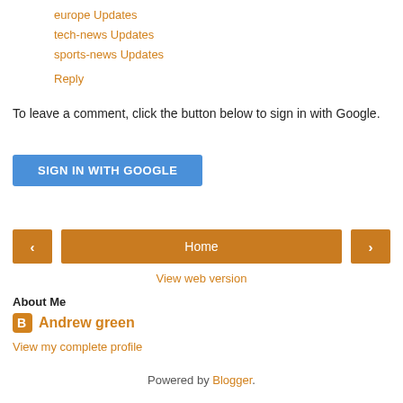europe Updates
tech-news Updates
sports-news Updates
Reply
To leave a comment, click the button below to sign in with Google.
[Figure (other): Blue button labeled SIGN IN WITH GOOGLE]
[Figure (other): Navigation bar with left arrow, Home button, right arrow]
View web version
About Me
Andrew green
View my complete profile
Powered by Blogger.